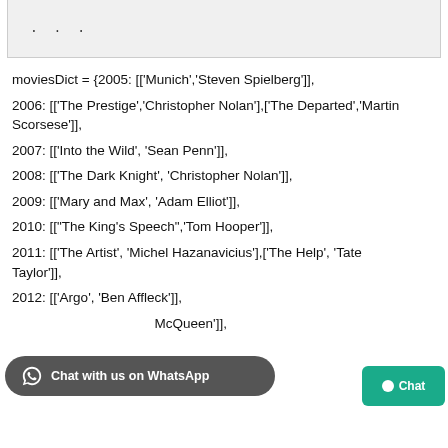...
moviesDict = {2005: [['Munich','Steven Spielberg']],
2006: [['The Prestige','Christopher Nolan'],['The Departed','Martin Scorsese']],
2007: [['Into the Wild', 'Sean Penn']],
2008: [['The Dark Knight', 'Christopher Nolan']],
2009: [['Mary and Max', 'Adam Elliot']],
2010: [["The King's Speech",'Tom Hooper']],
2011: [['The Artist', 'Michel Hazanavicius'],['The Help', 'Tate Taylor']],
2012: [['Argo', 'Ben Affleck']],
...McQueen']],
2014: [['Birdman', 'Alejandro G. Inarritu']],